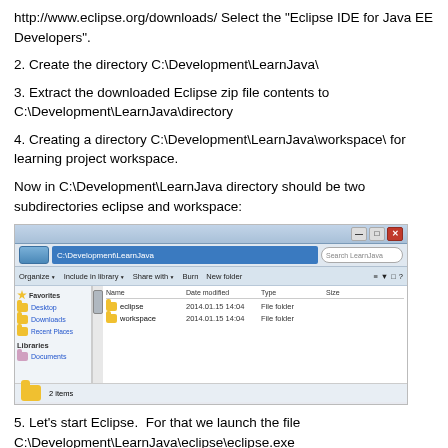http://www.eclipse.org/downloads/ Select the "Eclipse IDE for Java EE Developers".
2. Create the directory C:\Development\LearnJava\
3. Extract the downloaded Eclipse zip file contents to C:\Development\LearnJava\directory
4. Creating a directory C:\Development\LearnJava\workspace\ for learning project workspace.
Now in C:\Development\LearnJava directory should be two subdirectories eclipse and workspace:
[Figure (screenshot): Windows Explorer showing C:\Development\LearnJava directory with two folders: eclipse (2014.01.15 14:04, File folder) and workspace (2014.01.15 14:04, File folder). The status bar shows '2 items'.]
5. Let's start Eclipse.  For that we launch the file C:\Development\LearnJava\eclipse\eclipse.exe
6. Workspace selection window opens.  In this window: